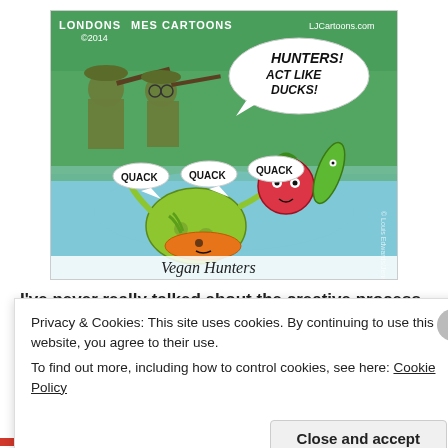[Figure (illustration): A humorous cartoon titled 'Vegan Hunters' by London James Cartoons (LJCartoons.com, 2014). Shows hunters in camouflage with guns, and anthropomorphized vegetables (tomato, cucumber, pea, carrot, broccoli) floating in water saying 'QUACK QUACK QUACK' with a speech bubble saying 'HUNTERS! ACT LIKE DUCKS!']
I've never really talked about the creative process
Privacy & Cookies: This site uses cookies. By continuing to use this website, you agree to their use.
To find out more, including how to control cookies, see here: Cookie Policy